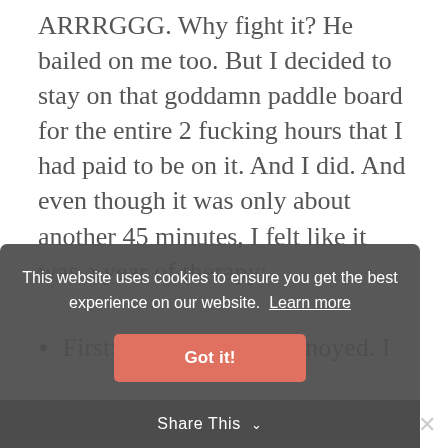ARRRGGG. Why fight it? He bailed on me too. But I decided to stay on that goddamn paddle board for the entire 2 fucking hours that I had paid to be on it. And I did. And even though it was only about another 45 minutes, I felt like it was a year of therapy:
First: I was soooooo annoyed. I
opinionated, hilarious, capable,
[Figure (screenshot): Cookie consent banner overlay with dark semi-transparent background. Text reads: 'This website uses cookies to ensure you get the best experience on our website. Learn more' with a salmon/coral colored 'Got it!' button. Below is a dark 'Share This' bar with a chevron icon and an X close button.]